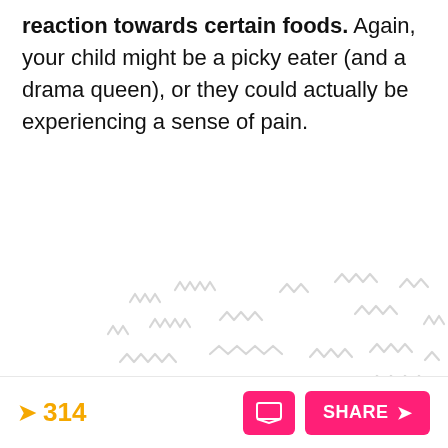reaction towards certain foods. Again, your child might be a picky eater (and a drama queen), or they could actually be experiencing a sense of pain.
[Figure (illustration): Watermark/background pattern of repeated squiggly line shapes in light gray across a white background area]
314  [comment button]  SHARE